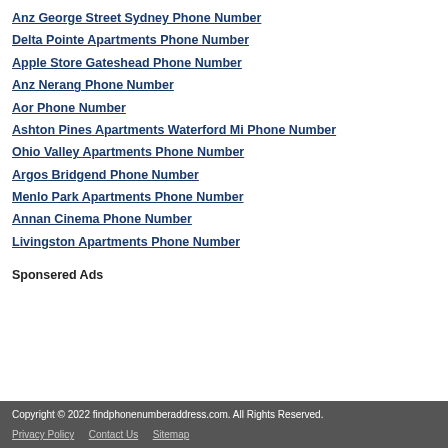Anz George Street Sydney Phone Number
Delta Pointe Apartments Phone Number
Apple Store Gateshead Phone Number
Anz Nerang Phone Number
Aor Phone Number
Ashton Pines Apartments Waterford Mi Phone Number
Ohio Valley Apartments Phone Number
Argos Bridgend Phone Number
Menlo Park Apartments Phone Number
Annan Cinema Phone Number
Livingston Apartments Phone Number
Sponsered Ads
Copyright © 2022 findphonenumberaddress.com. All Rights Reserved. | Privacy Policy | Contact Us | Sitemap